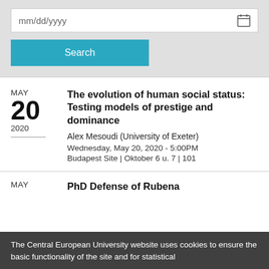[Figure (screenshot): Date input field with mm/dd/yyyy placeholder and calendar icon]
[Figure (screenshot): Search button in teal/cyan color]
The evolution of human social status: Testing models of prestige and dominance
Alex Mesoudi (University of Exeter)
Wednesday, May 20, 2020 - 5:00PM
Budapest Site | Oktober 6 u. 7 | 101
PhD Defense of Rubena
The Central European University website uses cookies to ensure the basic functionality of the site and for statistical